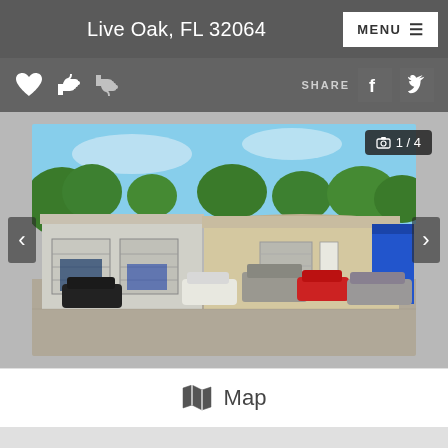Live Oak, FL 32064
[Figure (screenshot): Website UI screenshot showing a property listing page with action icons (heart, thumbs up, thumbs down), share buttons (Facebook, Twitter), a property photo slideshow showing an auto repair shop building with cars in parking lot, a photo counter showing 1/4, and a Map button at the bottom.]